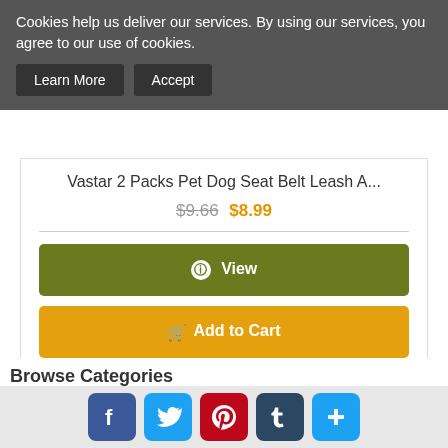Cookies help us deliver our services. By using our services, you agree to our use of cookies.
Learn More | Accept
Vastar 2 Packs Pet Dog Seat Belt Leash A...
$9.66 $8.99
View
Add to Cart
Browse Categories
Hog Dog Vest Harnesses (1132)
All Products
[Figure (other): Social media share icons: Facebook, Twitter, Pinterest, Tumblr, Add/Plus]